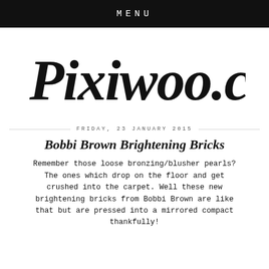MENU
[Figure (logo): Pixiwoo.com handwritten logo in black ink script]
FRIDAY, 23 JANUARY 2015
Bobbi Brown Brightening Bricks
Remember those loose bronzing/blusher pearls? The ones which drop on the floor and get crushed into the carpet. Well these new brightening bricks from Bobbi Brown are like that but are pressed into a mirrored compact thankfully!